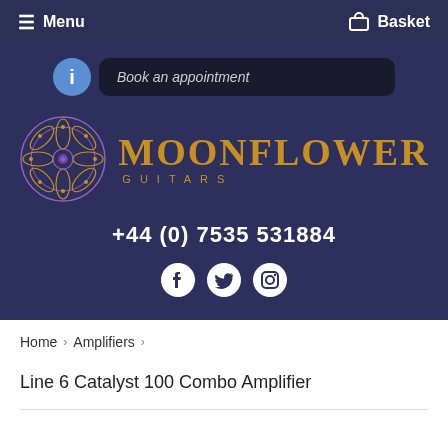Menu    Basket
Book an appointment
[Figure (logo): Moonflower Guitars logo with decorative mandala/flower symbol in purple and gold, with text MOONFLOWER GUITARS in gold]
+44 (0) 7535 531884
[Figure (infographic): Social media icons: Facebook, Twitter, Instagram circles]
Home › Amplifiers ›
Line 6 Catalyst 100 Combo Amplifier